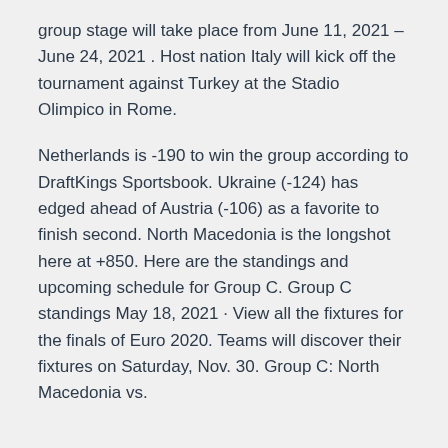group stage will take place from June 11, 2021 – June 24, 2021 . Host nation Italy will kick off the tournament against Turkey at the Stadio Olimpico in Rome.
Netherlands is -190 to win the group according to DraftKings Sportsbook. Ukraine (-124) has edged ahead of Austria (-106) as a favorite to finish second. North Macedonia is the longshot here at +850. Here are the standings and upcoming schedule for Group C. Group C standings May 18, 2021 · View all the fixtures for the finals of Euro 2020. Teams will discover their fixtures on Saturday, Nov. 30. Group C: North Macedonia vs.
Nov 12, 2020 · North Macedonia qualified for a major tournament